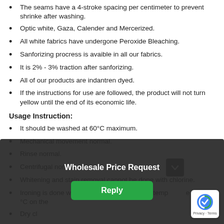The seams have a 4-stroke spacing per centimeter to prevent shrinke after washing.
Optic white, Gaza, Calender and Mercerized.
All white fabrics have undergone Peroxide Bleaching.
Sanforizing procress is avaible in all our fabrics.
It is 2% - 3% traction after sanforizing.
All of our products are indantren dyed.
If the instructions for use are followed, the product will not turn yellow until the end of its economic life.
Usage Instruction:
It should be washed at 60°C maximum.
Mechanical movement normal.
Rinse normal.
Centrifugal normal.
Whitening and stain removal cannot be done with chlorine.
Ironing is done with an iron with a maximum temperature of 200 °C on the fabric.
Dry cleaning is possible.
It is not possible to wring by hand.
Drum drying is possible.
[Figure (screenshot): Modal overlay popup with dark background showing 'Wholesale Price Request' title and a green 'Reply' button, with a reCAPTCHA badge in the bottom right corner.]